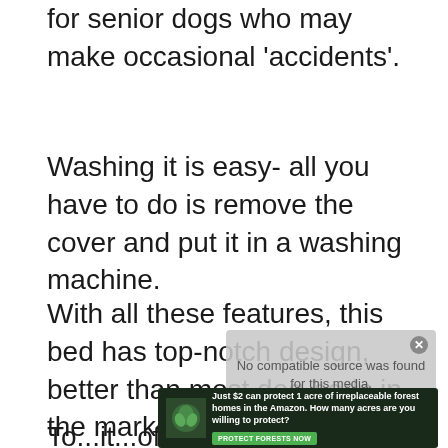for senior dogs who may make occasional 'accidents'.
Washing it is easy- all you have to do is remove the cover and put it in a washing machine.
With all these features, this bed has top-notch design, better than most dog beds in the market.
[Figure (screenshot): Media player overlay showing 'No compatible source was found for this media.' with subtitle text 'Raise and care for your whippet the...' and partial text about education]
[Figure (photo): Advertisement banner with dark green background showing forest/Amazon protection message: 'Just $2 can protect 1 acre of irreplaceable forest homes in the Amazon. How many acres are you willing to protect?' with 'PROTECT FORESTS NOW' button]
To...it...offer...with...